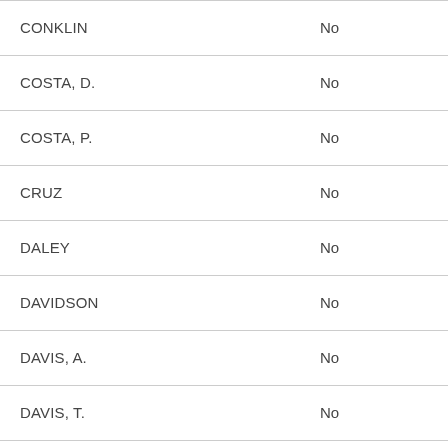| Name | Vote |
| --- | --- |
| CONKLIN | No |
| COSTA, D. | No |
| COSTA, P. | No |
| CRUZ | No |
| DALEY | No |
| DAVIDSON | No |
| DAVIS, A. | No |
| DAVIS, T. | No |
| DAWKINS | No |
| DEAN | No |